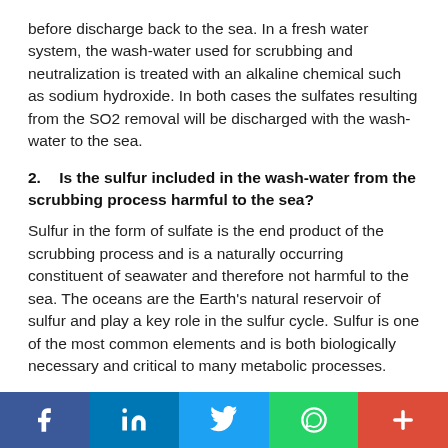before discharge back to the sea. In a fresh water system, the wash-water used for scrubbing and neutralization is treated with an alkaline chemical such as sodium hydroxide. In both cases the sulfates resulting from the SO2 removal will be discharged with the wash-water to the sea.
2.    Is the sulfur included in the wash-water from the scrubbing process harmful to the sea?
Sulfur in the form of sulfate is the end product of the scrubbing process and is a naturally occurring constituent of seawater and therefore not harmful to the sea. The oceans are the Earth's natural reservoir of sulfur and play a key role in the sulfur cycle. Sulfur is one of the most common elements and is both biologically necessary and critical to many metabolic processes.
To provide perspective, consider the following: If all the